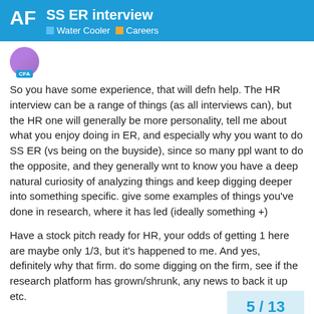SS ER interview | Water Cooler | Careers
So you have some experience, that will defn help. The HR interview can be a range of things (as all interviews can), but the HR one will generally be more personality, tell me about what you enjoy doing in ER, and especially why you want to do SS ER (vs being on the buyside), since so many ppl want to do the opposite, and they generally wnt to know you have a deep natural curiosity of analyzing things and keep digging deeper into something specific. give some examples of things you've done in research, where it has led (ideally something +)
Have a stock pitch ready for HR, your odds of getting 1 here are maybe only 1/3, but it's happened to me. And yes, definitely why that firm. do some digging on the firm, see if the research platform has grown/shrunk, any news to back it up etc.
since you said no sector was highlighted, time. usually , it's really important to do w